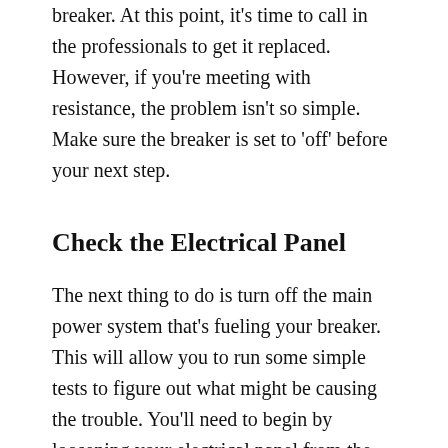breaker. At this point, it's time to call in the professionals to get it replaced. However, if you're meeting with resistance, the problem isn't so simple. Make sure the breaker is set to 'off' before your next step.
Check the Electrical Panel
The next thing to do is turn off the main power system that's fueling your breaker. This will allow you to run some simple tests to figure out what might be causing the trouble. You'll need to begin by loosening your electrical panel from the wall and manually checking for loose wires leading into the panel. This will be able to tell you right if anything is loose or broken.